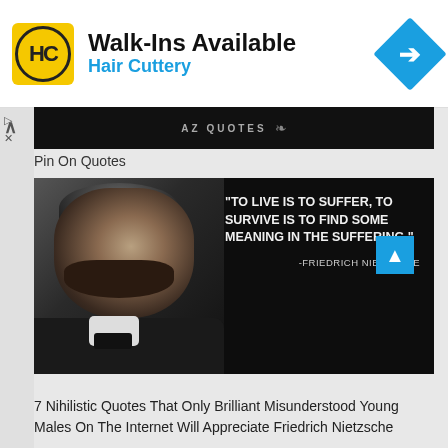[Figure (screenshot): Hair Cuttery advertisement banner with logo, 'Walk-Ins Available' headline, 'Hair Cuttery' subtitle, and blue navigation arrow icon]
[Figure (screenshot): AZ Quotes dark banner thumbnail with decorative ornament]
Pin On Quotes
[Figure (photo): Black and white photo of Friedrich Nietzsche with quote overlay: 'TO LIVE IS TO SUFFER, TO SURVIVE IS TO FIND SOME MEANING IN THE SUFFERING.' -FRIEDRICH NIETZSCHE]
7 Nihilistic Quotes That Only Brilliant Misunderstood Young Males On The Internet Will Appreciate Friedrich Nietzsche